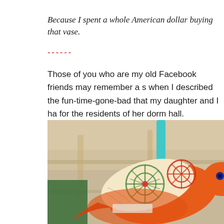Because I spent a whole American dollar buying that vase.
------
Those of you who are my old Facebook friends may remember a s when I described the fun-time-gone-bad that my daughter and I ha for the residents of her dorm hall.
[Figure (photo): A decorative paper bird ornament in orange with patterned wings featuring green and red circular designs, hanging from a teal/turquoise ribbon, with a blurred bookshelf background.]